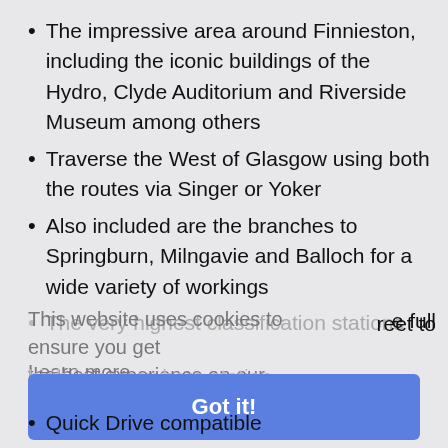The impressive area around Finnieston, including the iconic buildings of the Hydro, Clyde Auditorium and Riverside Museum among others
Traverse the West of Glasgow using both the routes via Singer or Yoker
Also included are the branches to Springburn, Milngavie and Balloch for a wide variety of workings
[faded/obscured] ...reet to ...e full
This website uses cookies to ensure you get the best experience on our website.
Learn more
Got it!
Quick Drive compatible